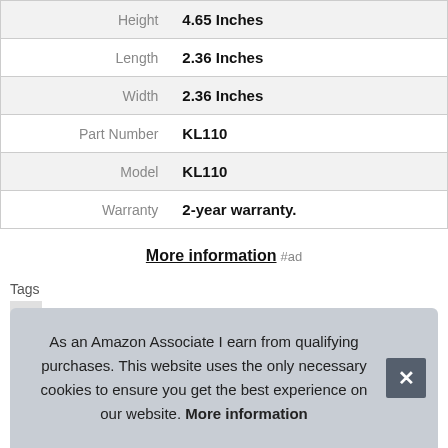|  |  |
| --- | --- |
| Height | 4.65 Inches |
| Length | 2.36 Inches |
| Width | 2.36 Inches |
| Part Number | KL110 |
| Model | KL110 |
| Warranty | 2-year warranty. |
More information #ad
Tags
Ph
As an Amazon Associate I earn from qualifying purchases. This website uses the only necessary cookies to ensure you get the best experience on our website. More information